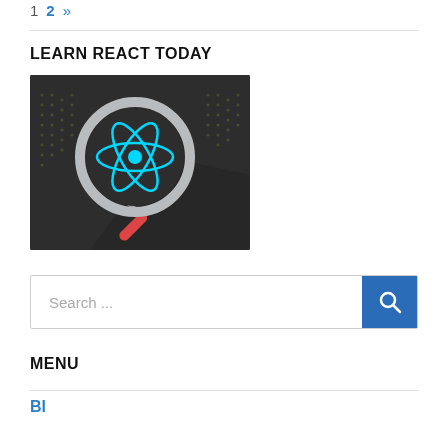1  2  »
LEARN REACT TODAY
[Figure (illustration): Dark-themed illustration showing a magnifying glass with the React (atom) logo in cyan/teal color on a dark digital/code background]
Search ...
MENU
Bl...